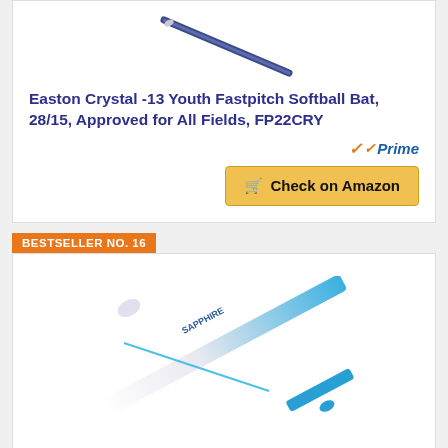[Figure (photo): Easton Crystal softball bat shown diagonally, top portion visible]
Easton Crystal -13 Youth Fastpitch Softball Bat, 28/15, Approved for All Fields, FP22CRY
Prime
Check on Amazon
BESTSELLER NO. 16
[Figure (photo): Sapphire softball bat shown diagonally, white and blue with Sapphire branding]